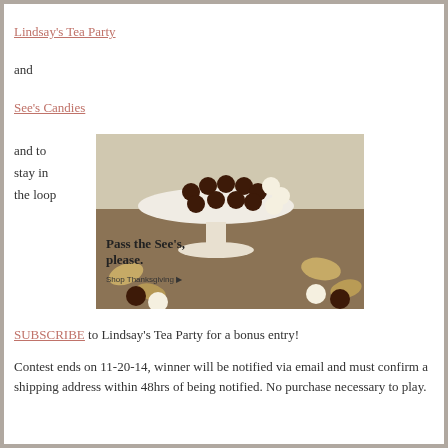Lindsay's Tea Party
and
See's Candies
and to stay in the loop
[Figure (photo): See's Candies advertisement showing chocolate candies on a cake stand with text 'Pass the See's, please. Shop Thanksgiving ▶']
SUBSCRIBE to Lindsay's Tea Party for a bonus entry!
Contest ends on 11-20-14, winner will be notified via email and must confirm a shipping address within 48hrs of being notified. No purchase necessary to play.